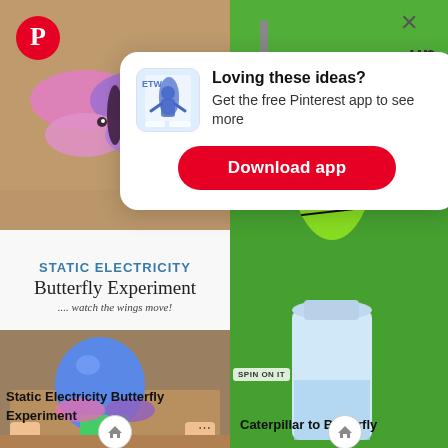[Figure (screenshot): Pinterest app promotion popup overlay on top of a page showing two science experiment images. Left image shows Static Electricity Butterfly Experiment with colorful paper butterfly and blue balloon. Right image shows a green balloon caterpillar on a plastic bottle.]
Loving these ideas?
Get the free Pinterest app to see more
Download app
Static Electricity Butterfly Experiment
Caterpillar to Butterfly